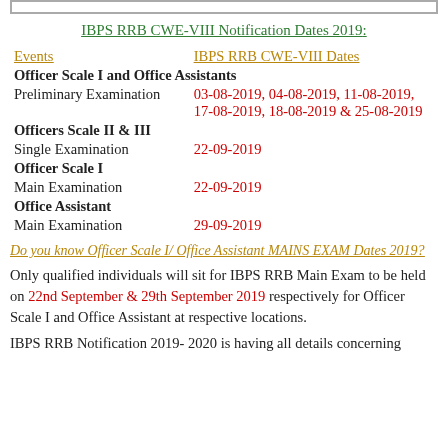IBPS RRB CWE-VIII Notification Dates 2019:
| Events | IBPS RRB CWE-VIII Dates |
| --- | --- |
| Officer Scale I and Office Assistants |  |
| Preliminary Examination | 03-08-2019, 04-08-2019, 11-08-2019, 17-08-2019, 18-08-2019 & 25-08-2019 |
| Officers Scale II & III |  |
| Single Examination | 22-09-2019 |
| Officer Scale I |  |
| Main Examination | 22-09-2019 |
| Office Assistant |  |
| Main Examination | 29-09-2019 |
Do you know Officer Scale I/ Office Assistant MAINS EXAM Dates 2019?
Only qualified individuals will sit for IBPS RRB Main Exam to be held on 22nd September & 29th September 2019 respectively for Officer Scale I and Office Assistant at respective locations.
IBPS RRB Notification 2019- 2020 is having all details concerning